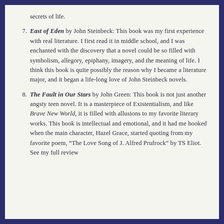secrets of life.
East of Eden by John Steinbeck: This book was my first experience with real literature. I first read it in middle school, and I was enchanted with the discovery that a novel could be so filled with symbolism, allegory, epiphany, imagery, and the meaning of life. I think this book is quite possibly the reason why I became a literature major, and it began a life-long love of John Steinbeck novels.
The Fault in Our Stars by John Green: This book is not just another angsty teen novel. It is a masterpiece of Existentialism, and like Brave New World, it is filled with allusions to my favorite literary works. This book is intellectual and emotional, and it had me hooked when the main character, Hazel Grace, started quoting from my favorite poem, “The Love Song of J. Alfred Prufrock” by TS Eliot. See my full review